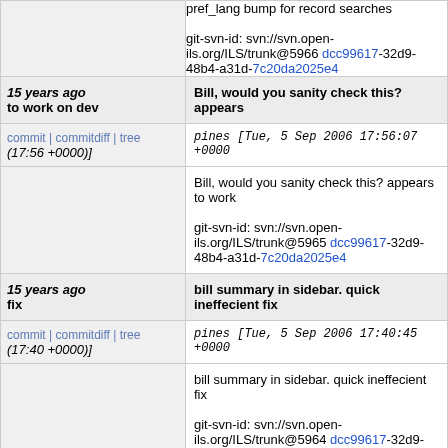pref_lang bump for record searches

git-svn-id: svn://svn.open-ils.org/ILS/trunk@5966 dcc99617-32d9-48b4-a31d-7c20da2025e4
15 years ago to work on dev
Bill, would you sanity check this? appears
commit | commitdiff | tree (17:56 +0000)]
pines [Tue, 5 Sep 2006 17:56:07 +0000
Bill, would you sanity check this?  appears to work

git-svn-id: svn://svn.open-ils.org/ILS/trunk@5965 dcc99617-32d9-48b4-a31d-7c20da2025e4
15 years ago fix
bill summary in sidebar. quick ineffecient fix
commit | commitdiff | tree (17:40 +0000)]
pines [Tue, 5 Sep 2006 17:40:45 +0000
bill summary in sidebar. quick ineffecient fix

git-svn-id: svn://svn.open-ils.org/ILS/trunk@5964 dcc99617-32d9-48b4-